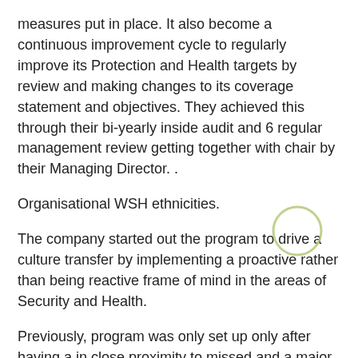measures put in place. It also become a continuous improvement cycle to regularly improve its Protection and Health targets by review and making changes to its coverage statement and objectives. They achieved this through their bi-yearly inside audit and 6 regular management review getting together with chair by their Managing Director. .
Organisational WSH ethnicities.
The company started out the program to drive a culture transfer by implementing a proactive rather than being reactive frame of mind in the areas of Security and Health.
Previously, program was only set up only after having a in close proximity to missed and a major accident situation.
The procative program put in place are a weekly